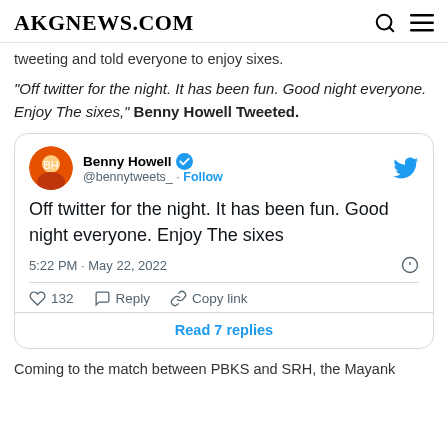AKGNEWS.COM
tweeting and told everyone to enjoy sixes.
“Off twitter for the night. It has been fun. Good night everyone. Enjoy The sixes,” Benny Howell Tweeted.
[Figure (screenshot): Embedded tweet from @bennytweets_ (Benny Howell, verified) reading: Off twitter for the night. It has been fun. Good night everyone. Enjoy The sixes. Posted 5:22 PM · May 22, 2022. 132 likes. Reply. Copy link. Read 7 replies.]
Coming to the match between PBKS and SRH, the Mayank